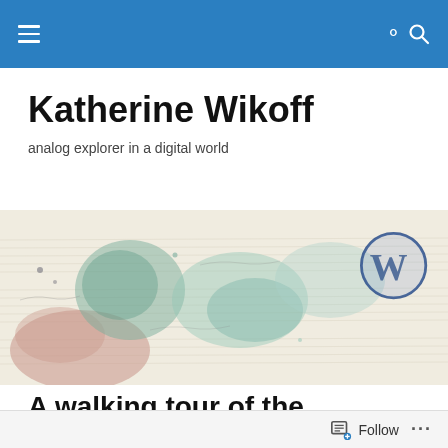Katherine Wikoff — navigation bar with hamburger menu and search icon
Katherine Wikoff
analog explorer in a digital world
[Figure (illustration): Watercolor/painted banner image with abstract blue, green, and pink ink blot shapes on a light background resembling sheet music or manuscript paper, with the WordPress logo (W) visible in the upper right corner]
A walking tour of the Milwaukee River's bridge houses
Follow   ...